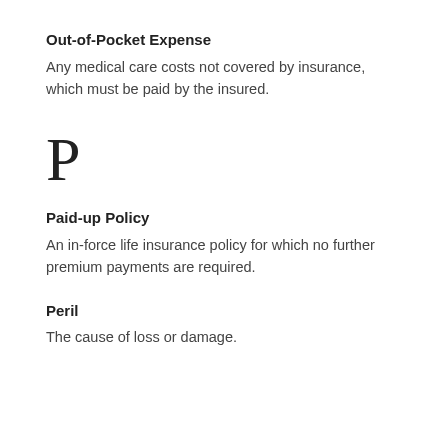Out-of-Pocket Expense
Any medical care costs not covered by insurance, which must be paid by the insured.
P
Paid-up Policy
An in-force life insurance policy for which no further premium payments are required.
Peril
The cause of loss or damage.